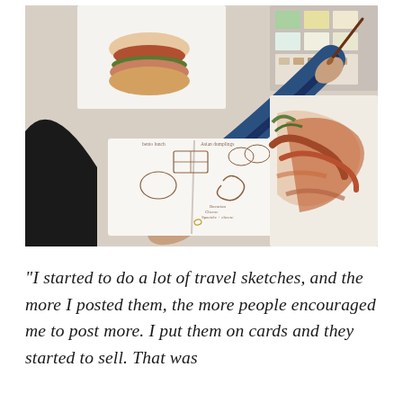[Figure (photo): A person wearing a blue striped long-sleeve shirt sits at a white table, holding an open sketchbook filled with food illustrations (bento boxes, pretzels, noodles, dumplings, a burger). On the table is a colorful watercolor paint palette and a painting in progress. A completed watercolor illustration of a burger is pinned to the wall in the upper left.]
"I started to do a lot of travel sketches, and the more I posted them, the more people encouraged me to post more. I put them on cards and they started to sell. That was